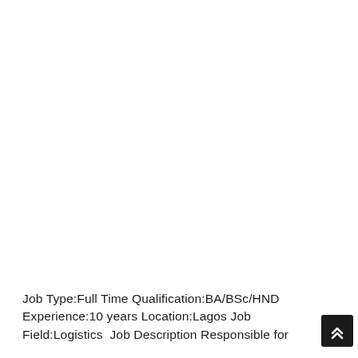Job Type:Full Time Qualification:BA/BSc/HND Experience:10 years Location:Lagos Job Field:Logistics  Job Description Responsible for